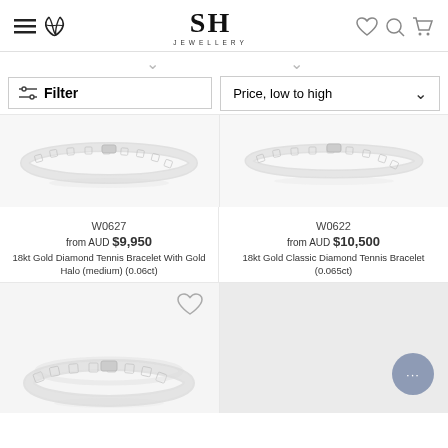SH JEWELLERY — navigation header with menu, phone, wishlist, search, cart icons
Filter | Price, low to high
[Figure (photo): Diamond tennis bracelet product image W0627]
W0627
from AUD $9,950
18kt Gold Diamond Tennis Bracelet With Gold Halo (medium) (0.06ct)
[Figure (photo): Diamond tennis bracelet product image W0622]
W0622
from AUD $10,500
18kt Gold Classic Diamond Tennis Bracelet (0.065ct)
[Figure (photo): Second row left product - diamond tennis bracelet, partially visible]
[Figure (photo): Second row right product - partially visible, chat bubble overlay]